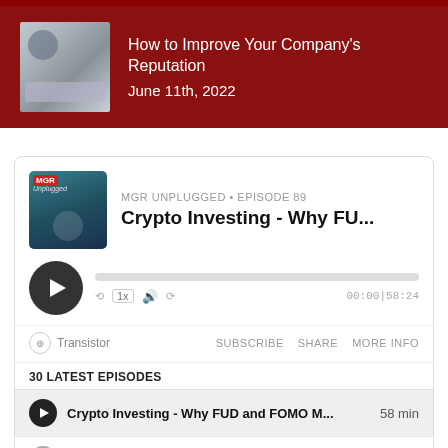[Figure (screenshot): Hero banner with dark red background showing podcast episode thumbnail and title 'How to Improve Your Company's Reputation' dated June 11th, 2022]
How to Improve Your Company's Reputation
June 11th, 2022
[Figure (screenshot): Podcast player widget for MGR Unplugged Episode 89: Crypto Investing - Why FU... with play button, progress bar, time 00:00|58:24, transistor branding, and episode list showing 30 latest episodes]
MGR UNPLUGGED • EPISODE 89
Crypto Investing - Why FU...
00:00|58:24
Transistor
SUBSCRIBE
SHARE
MORE INFO
30 LATEST EPISODES
Crypto Investing - Why FUD and FOMO M... 58 min
The Crypto Crash - Why it Happened and W... 62 min
Elon Musk Revives SNL - Amazon Bans Acco... 53 min
DeFi News, Opportunities and Risks - The Ph... 62 min